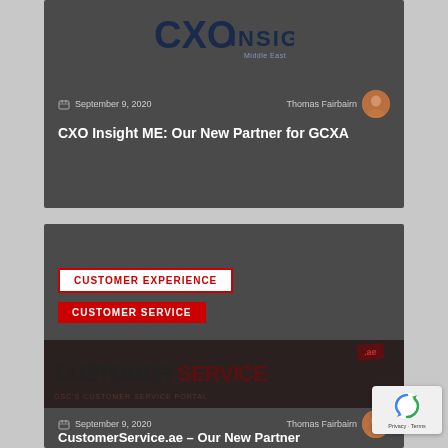[Figure (logo): CXO Insight Middle East logo on dark grey card]
September 9, 2020   Thomas Fairbairn
CXO Insight ME: Our New Partner for GCXA
CUSTOMER EXPERIENCE
CUSTOMER SERVICE
[Figure (photo): CustomerService.ae portal banner image with CUSTOMER SERVICE text on dark background]
September 9, 2020   Thomas Fairbairn
CustomerService.ae – Our New Partner